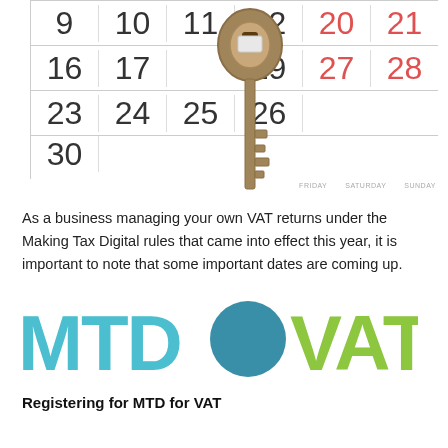[Figure (photo): A calendar showing dates 9-30 with a metal key overlaid on top, and day labels FRIDAY, SATURDAY, SUNDAY at the bottom right]
As a business managing your own VAT returns under the Making Tax Digital rules that came into effect this year, it is important to note that some important dates are coming up.
[Figure (logo): MTD for VAT logo - MTD in teal/blue letters, a circular icon with f shape, and VAT in green letters]
Registering for MTD for VAT